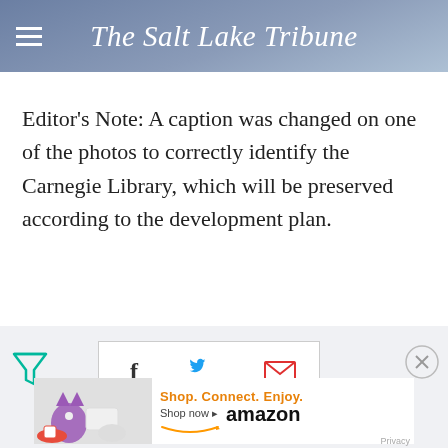The Salt Lake Tribune
Editor's Note: A caption was changed on one of the photos to correctly identify the Carnegie Library, which will be preserved according to the development plan.
[Figure (infographic): Social sharing bar with Facebook, Twitter, and email icons in a bordered box, plus a filter icon to the left and a close (X) circle button to the right]
[Figure (infographic): Amazon advertisement banner with decorative items image on left, orange text 'Shop. Connect. Enjoy.' and 'Shop now' with Amazon logo and smile graphic on right]